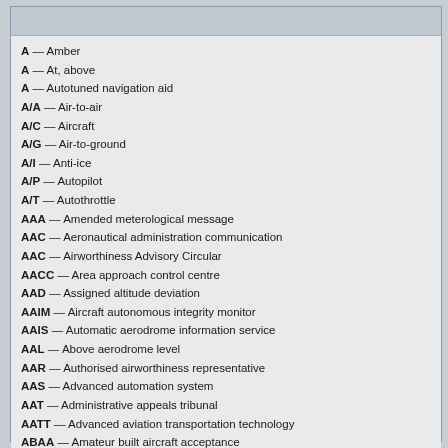A — Amber
A — At, above
A — Autotuned navigation aid
A/A — Air-to-air
A/C — Aircraft
A/G — Air-to-ground
A/I — Anti-ice
A/P — Autopilot
A/T — Autothrottle
AAA — Amended meterological message
AAC — Aeronautical administration communication
AAC — Airworthiness Advisory Circular
AACC — Area approach control centre
AAD — Assigned altitude deviation
AAIM — Aircraft autonomous integrity monitor
AAIS — Automatic aerodrome information service
AAL — Above aerodrome level
AAR — Authorised airworthiness representative
AAS — Advanced automation system
AAT — Administrative appeals tribunal
AATT — Advanced aviation transportation technology
ABAA — Amateur built aircraft acceptance